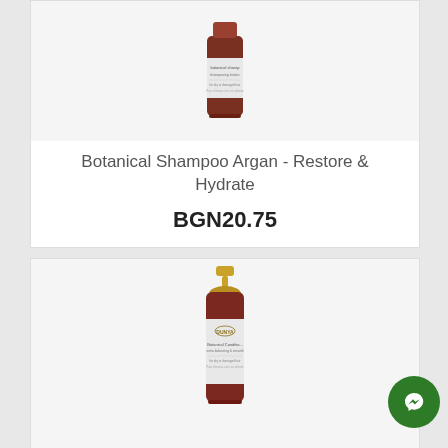[Figure (photo): Product photo of Botanical Shampoo Argan bottle (amber/brown bottle with white label, no pump cap) on light grey background]
Botanical Shampoo Argan - Restore & Hydrate
BGN20.75
[Figure (photo): Product photo of Dunya Botanical Conditioner bottle (amber/brown bottle with gold pump cap and white label) on light grey background]